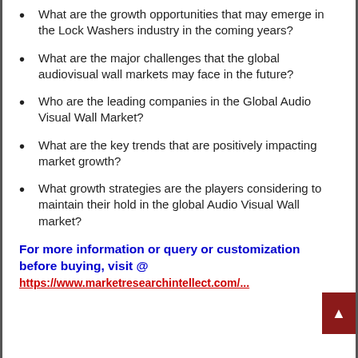What are the growth opportunities that may emerge in the Lock Washers industry in the coming years?
What are the major challenges that the global audiovisual wall markets may face in the future?
Who are the leading companies in the Global Audio Visual Wall Market?
What are the key trends that are positively impacting market growth?
What growth strategies are the players considering to maintain their hold in the global Audio Visual Wall market?
For more information or query or customization before buying, visit @
https://www.marketresearchintellect.com/...